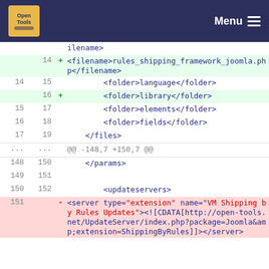Open Tools | Menu
[Figure (screenshot): Code diff view showing XML file changes with line numbers, added/removed lines highlighted in green/red, and a navigation bar at top.]